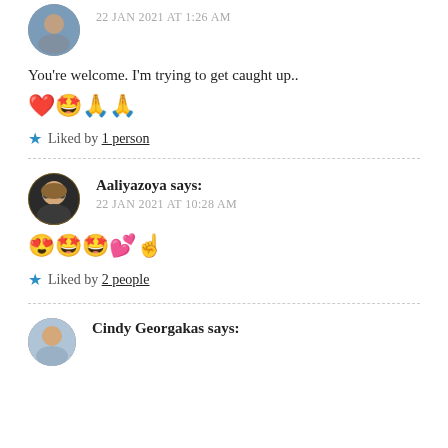22 JAN 2021 AT 1:26 AM
You’re welcome. I’m trying to get caught up.. ❤️🥰🫰🫰
★ Liked by 1 person
Aaliyazoya says: 22 JAN 2021 AT 10:28 AM
😍🥰🥰💕☝️
★ Liked by 2 people
Cindy Georgakas says: